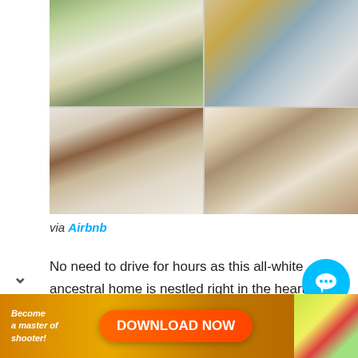[Figure (photo): 2x2 grid of property photos: exterior of white ancestral home with greenery, kitchen counter with books and fruits, bedroom with four-poster canopy bed, and living room with leather chairs and sofa]
via Airbnb
No need to drive for hours as this all-white ancestral home is nestled right in the heart of the city. A popular venue for intimate weddings and wedding preparations, Casita
[Figure (other): DOWNLOAD NOW advertisement banner with orange background and game app promotion]